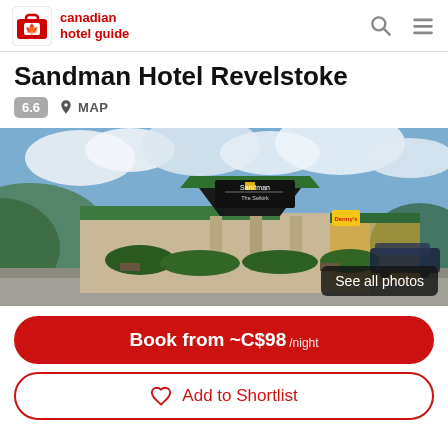canadian hotel guide
Sandman Hotel Revelstoke
6.6  MAP
[Figure (photo): Exterior photo of Sandman Hotel Revelstoke (The Selkirk), showing the entrance with a dark triangular canopy sign reading 'Sandman The Selkirk', green roof, columns, landscaping, and blue sky with clouds. A 'See all photos' button overlay is in the bottom right.]
Book from ~C$98 /night
Add to Shortlist